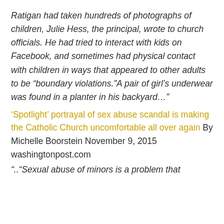Ratigan had taken hundreds of photographs of children, Julie Hess, the principal, wrote to church officials. He had tried to interact with kids on Facebook, and sometimes had physical contact with children in ways that appeared to other adults to be “boundary violations.”A pair of girl’s underwear was found in a planter in his backyard…”
‘Spotlight’ portrayal of sex abuse scandal is making the Catholic Church uncomfortable all over again By Michelle Boorstein November 9, 2015 washingtonpost.com
“..“Sexual abuse of minors is a problem that